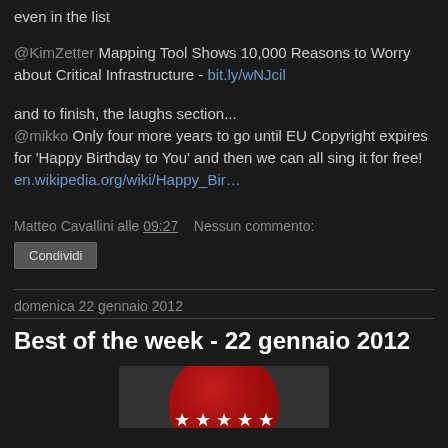even in the list
@KimZetter Mapping Tool Shows 10,000 Reasons to Worry about Critical Infrastructure - bit.ly/wNJcil
and to finish, the laughs section...
@mikko Only four more years to go until EU Copyright expires for 'Happy Birthday to You' and then we can all sing it for free! en.wikipedia.org/wiki/Happy_Bir…
Matteo Cavallini alle 09:27   Nessun commento:
Condividi
domenica 22 gennaio 2012
Best of the week - 22 gennaio 2012
[Figure (illustration): Red circular badge with white stars]